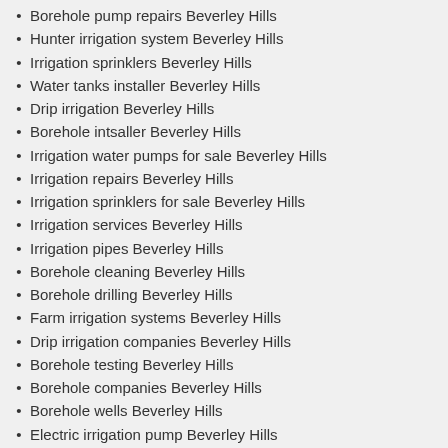Borehole pump repairs Beverley Hills
Hunter irrigation system Beverley Hills
Irrigation sprinklers Beverley Hills
Water tanks installer Beverley Hills
Drip irrigation Beverley Hills
Borehole intsaller Beverley Hills
Irrigation water pumps for sale Beverley Hills
Irrigation repairs Beverley Hills
Irrigation sprinklers for sale Beverley Hills
Irrigation services Beverley Hills
Irrigation pipes Beverley Hills
Borehole cleaning Beverley Hills
Borehole drilling Beverley Hills
Farm irrigation systems Beverley Hills
Drip irrigation companies Beverley Hills
Borehole testing Beverley Hills
Borehole companies Beverley Hills
Borehole wells Beverley Hills
Electric irrigation pump Beverley Hills
Borehole pump intsaller Beverley Hills
Borehole maintenance Beverley Hills
Water pumps Beverley Hills
Borehole company Beverley Hills
Borehole irrigation systems Beverley Hills
Borehole pump installations Beverley Hills
Borehole water treatment Beverley Hills
Irrigation installers Beverley Hills